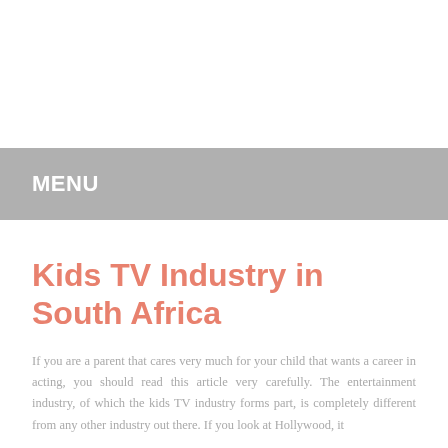MENU
Kids TV Industry in South Africa
If you are a parent that cares very much for your child that wants a career in acting, you should read this article very carefully. The entertainment industry, of which the kids TV industry forms part, is completely different from any other industry out there. If you look at Hollywood, it